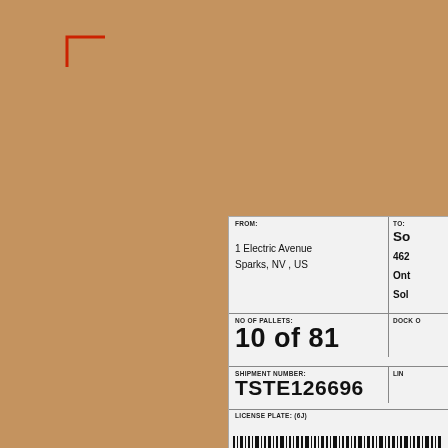[Figure (photo): Photograph of a cardboard box corner with a red corner bracket mark in the upper left area, and a shipping label affixed to the lower right portion of the box face.]
FROM:
1 Electric Avenue
Sparks, NV , US
TO:
So
462
Ont
Sol
NO OF PALLETS:
10 of 81
DOCK O
LIN
SHIPMENT NUMBER:
TSTE126696
LICENSE PLATE: (6J)
6JLX000